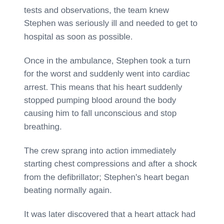tests and observations, the team knew Stephen was seriously ill and needed to get to hospital as soon as possible.
Once in the ambulance, Stephen took a turn for the worst and suddenly went into cardiac arrest. This means that his heart suddenly stopped pumping blood around the body causing him to fall unconscious and stop breathing.
The crew sprang into action immediately starting chest compressions and after a shock from the defibrillator; Stephen's heart began beating normally again.
It was later discovered that a heart attack had